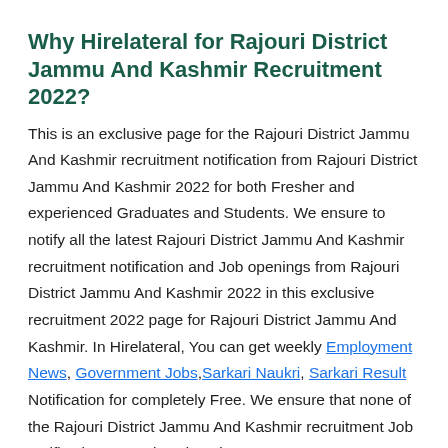Why Hirelateral for Rajouri District Jammu And Kashmir Recruitment 2022?
This is an exclusive page for the Rajouri District Jammu And Kashmir recruitment notification from Rajouri District Jammu And Kashmir 2022 for both Fresher and experienced Graduates and Students. We ensure to notify all the latest Rajouri District Jammu And Kashmir recruitment notification and Job openings from Rajouri District Jammu And Kashmir 2022 in this exclusive recruitment 2022 page for Rajouri District Jammu And Kashmir. In Hirelateral, You can get weekly Employment News, Government Jobs, Sarkari Naukri, Sarkari Result Notification for completely Free. We ensure that none of the Rajouri District Jammu And Kashmir recruitment Job notification gets missed out in